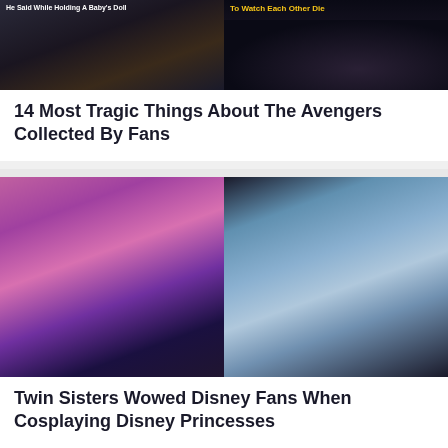[Figure (photo): Two side-by-side movie screenshot thumbnails related to The Avengers. Left image shows a dark scene with text overlay 'He Said While Holding A Baby's Doll'. Right image shows two characters close together with yellow text overlay 'To Watch Each Other Die'.]
14 Most Tragic Things About The Avengers Collected By Fans
[Figure (photo): Two side-by-side photos of cosplayers. Left photo shows two women cosplaying as Disney Descendants characters with pink and blue wigs. Right photo shows two women cosplaying as Elsa and Anna from Frozen in blue winter costumes.]
Twin Sisters Wowed Disney Fans When Cosplaying Disney Princesses